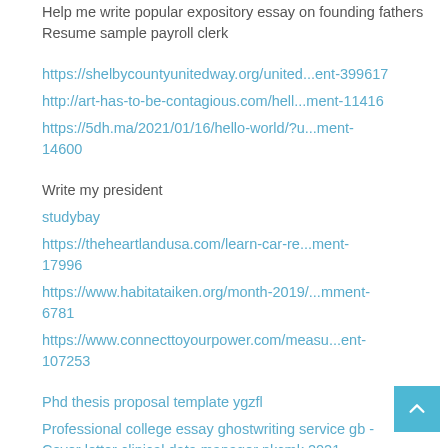Help me write popular expository essay on founding fathers
Resume sample payroll clerk
https://shelbycountyunitedway.org/united...ent-399617
http://art-has-to-be-contagious.com/hell...ment-11416
https://5dh.ma/2021/01/16/hello-world/?u...ment-14600
Write my president
studybay
https://theheartlandusa.com/learn-car-re...ment-17996
https://www.habitataiken.org/month-2019/...mment-6781
https://www.connecttoyourpower.com/measu...ent-107253
Phd thesis proposal template ygzfl
Professional college essay ghostwriting service gb -
Cover letter clinical data manager nkcmk 2021
Compare two restaurants essay - Cocaine research paper work cited jwzto 2021
Resume for novice hairdresser smzkh